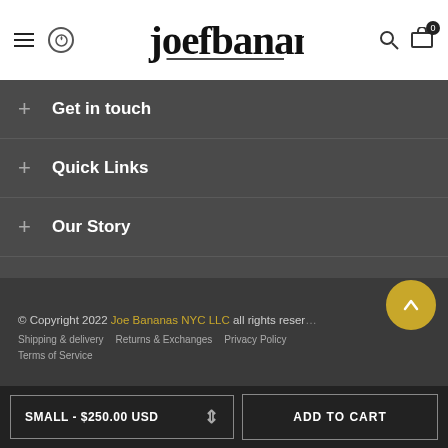joefbananas header navigation
+ Get in touch
+ Quick Links
+ Our Story
+ Mailing List
© Copyright 2022 Joe Bananas NYC LLC all rights reserved
Shipping & delivery   Returns & Exchanges   Privacy Policy   Terms of Service
SMALL - $250.00 USD   ADD TO CART